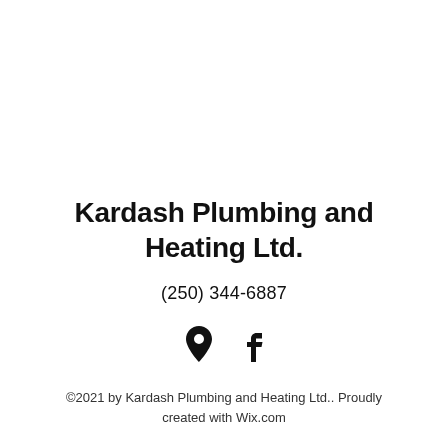Kardash Plumbing and Heating Ltd.
(250) 344-6887
[Figure (other): Location pin icon and Facebook icon side by side]
©2021 by Kardash Plumbing and Heating Ltd.. Proudly created with Wix.com